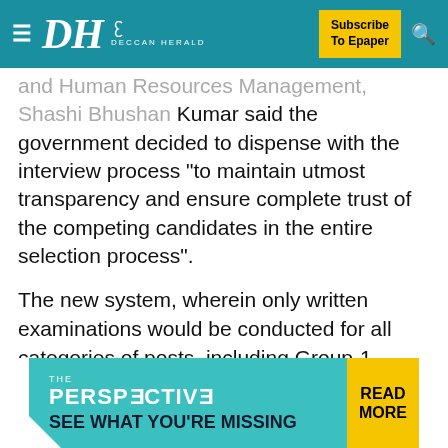DH DECCAN HERALD — Subscribe To Epaper
and Human Resources Management, Shashi Bhushan Kumar said the government decided to dispense with the interview process "to maintain utmost transparency and ensure complete trust of the competing candidates in the entire selection process".
The new system, wherein only written examinations would be conducted for all categories of posts, including Group-1 services, would be applicable for all recruitments to be notified from now on. In 2011, the then united AP government headed by N Kiran Kumar Reddy did away with the interview process for all subordinate services as part of the reforms introduced in APPSC recruitments.
[Figure (screenshot): Advertisement banner for 'The Perspective' with teal background reading 'SEE WHAT YOU'RE MISSING' and yellow 'READ MORE' button on the right.]